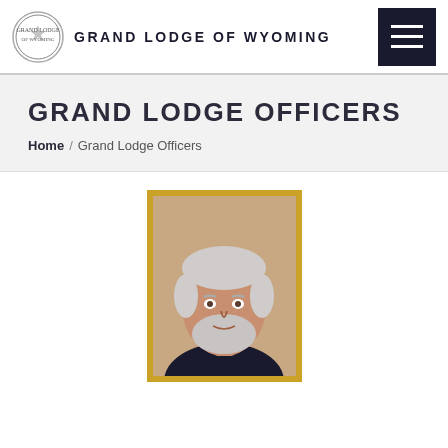GRAND LODGE OF WYOMING
GRAND LODGE OFFICERS
Home / Grand Lodge Officers
[Figure (photo): Portrait photograph of a man with white/grey hair and beard, wearing dark clothing, displayed in a gold ornate frame. The photo is a formal headshot with a beige/tan background.]